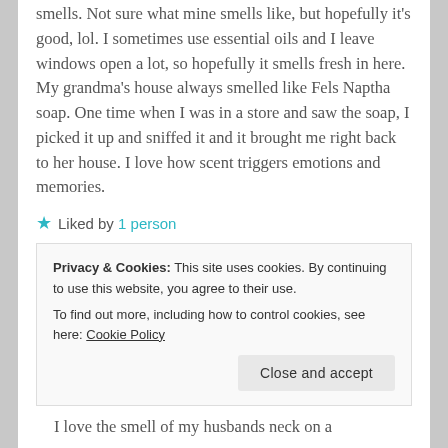smells. Not sure what mine smells like, but hopefully it's good, lol. I sometimes use essential oils and I leave windows open a lot, so hopefully it smells fresh in here. My grandma's house always smelled like Fels Naptha soap. One time when I was in a store and saw the soap, I picked it up and sniffed it and it brought me right back to her house. I love how scent triggers emotions and memories.
★ Liked by 1 person
Reply →
Privacy & Cookies: This site uses cookies. By continuing to use this website, you agree to their use.
To find out more, including how to control cookies, see here: Cookie Policy
Close and accept
I love the smell of my husbands neck on a